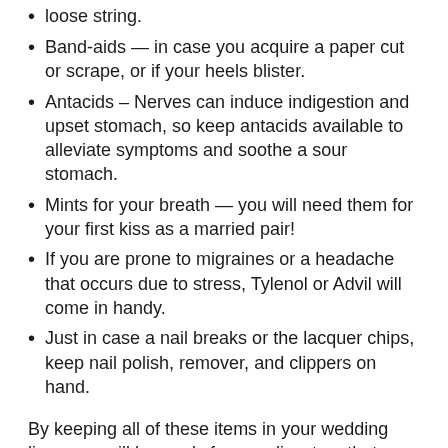loose string.
Band-aids — in case you acquire a paper cut or scrape, or if your heels blister.
Antacids – Nerves can induce indigestion and upset stomach, so keep antacids available to alleviate symptoms and soothe a sour stomach.
Mints for your breath — you will need them for your first kiss as a married pair!
If you are prone to migraines or a headache that occurs due to stress, Tylenol or Advil will come in handy.
Just in case a nail breaks or the lacquer chips, keep nail polish, remover, and clippers on hand.
By keeping all of these items in your wedding limo, you will be ready for any disasters that may occur.